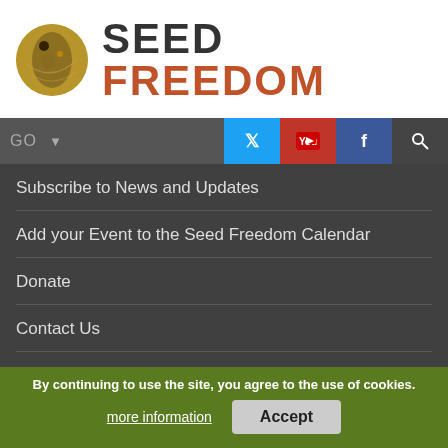[Figure (logo): Seed Freedom logo with circular seed image and brand name 'SEED FREEDOM' in dark grey and rusty orange]
Subscribe to News and Updates
Add your Event to the Seed Freedom Calendar
Donate
Contact Us
Privacy Policy and Cookie Policy
[Figure (screenshot): Tweets from @occupytheseed Twitter widget embedded on page]
By continuing to use the site, you agree to the use of cookies.
more information   Accept